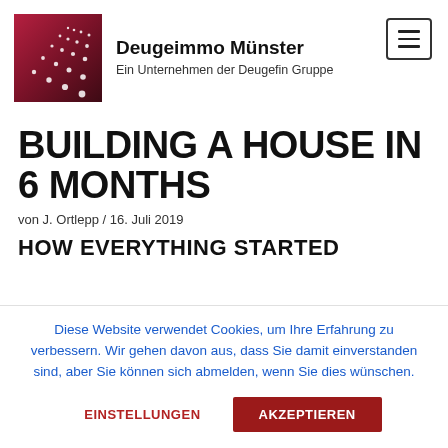[Figure (logo): Deugeimmo Münster logo: dark red/maroon square background with white diagonal dot-pattern lines forming a perspective grid]
Deugeimmo Münster
Ein Unternehmen der Deugefin Gruppe
BUILDING A HOUSE IN 6 MONTHS
von J. Ortlepp / 16. Juli 2019
HOW EVERYTHING STARTED
Diese Website verwendet Cookies, um Ihre Erfahrung zu verbessern. Wir gehen davon aus, dass Sie damit einverstanden sind, aber Sie können sich abmelden, wenn Sie dies wünschen.
EINSTELLUNGEN
AKZEPTIEREN